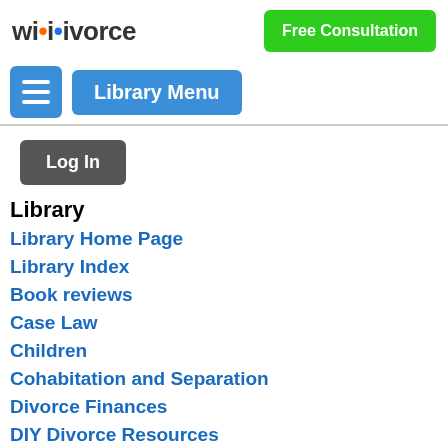wikivorce | Free Consultation
Library Menu
Log In
Library
Library Home Page
Library Index
Book reviews
Case Law
Children
Cohabitation and Separation
Divorce Finances
DIY Divorce Resources